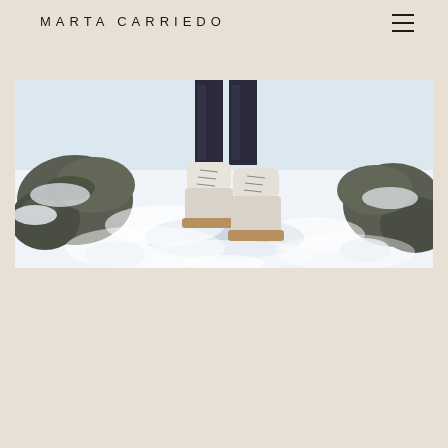MARTA CARRIEDO
[Figure (photo): Close-up photo of a person wearing white fur-lined snow boots standing on a snowy landscape with dark rocks and icy water visible in the background. The person is wearing dark metallic/leather trousers. The boots are white/cream colored with lace-up front and chunky sole.]